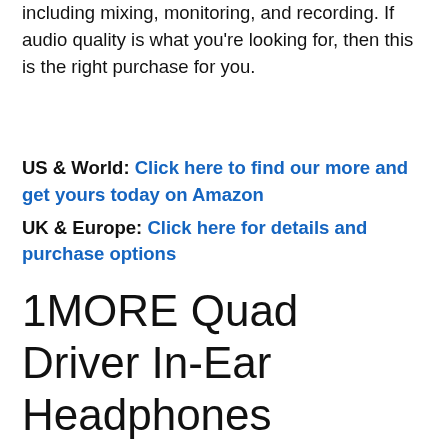including mixing, monitoring, and recording. If audio quality is what you're looking for, then this is the right purchase for you.
US & World: Click here to find our more and get yours today on Amazon
UK & Europe: Click here for details and purchase options
1MORE Quad Driver In-Ear Headphones